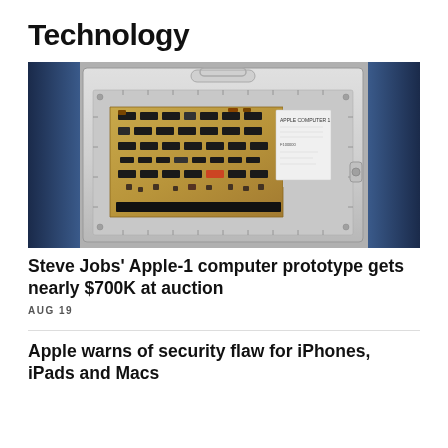Technology
[Figure (photo): An Apple-1 computer prototype motherboard mounted in a metal display frame/case with a handle on top, shown against a gray background with dark blue sides.]
Steve Jobs' Apple-1 computer prototype gets nearly $700K at auction
AUG 19
Apple warns of security flaw for iPhones, iPads and Macs